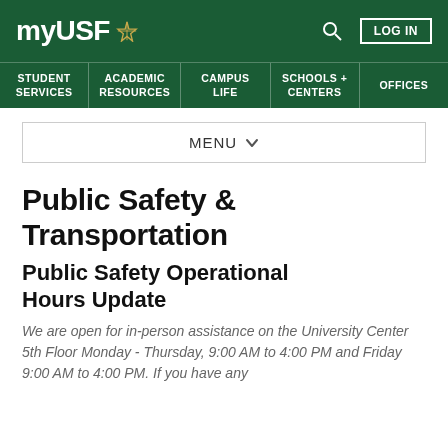myUSF
STUDENT SERVICES | ACADEMIC RESOURCES | CAMPUS LIFE | SCHOOLS + CENTERS | OFFICES
MENU
Public Safety & Transportation
Public Safety Operational Hours Update
We are open for in-person assistance on the University Center 5th Floor Monday - Thursday, 9:00 AM to 4:00 PM and Friday 9:00 AM to 4:00 PM. If you have any